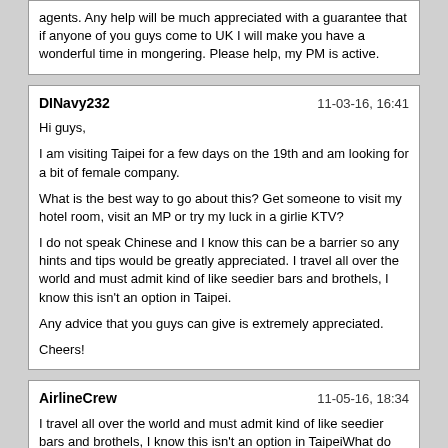agents. Any help will be much appreciated with a guarantee that if anyone of you guys come to UK I will make you have a wonderful time in mongering. Please help, my PM is active.
DINavy232 | 11-03-16, 16:41
Hi guys,

I am visiting Taipei for a few days on the 19th and am looking for a bit of female company.

What is the best way to go about this? Get someone to visit my hotel room, visit an MP or try my luck in a girlie KTV?

I do not speak Chinese and I know this can be a barrier so any hints and tips would be greatly appreciated. I travel all over the world and must admit kind of like seedier bars and brothels, I know this isn’t an option in Taipei.

Any advice that you guys can give is extremely appreciated.

Cheers!
AirlineCrew | 11-05-16, 18:34
I travel all over the world and must admit kind of like seedier bars and brothels, I know this isn’t an option in TaipeiWhat do you mean seedy bars are not an option? Just one question. Are you white? Cause if so then you should have a field day. I’m not saying all taiwanese girls like white guys but there is a group out there that want only white guys. I know this cause I’ve met many in TPE. I’ve met virgins, flight attendants, married women etc. All because they like white guys. I’m sure 70 or 80% has no interest in white guys but that leaves plenty that do or actually prefer it. Now I don’t do the bar scene in Taipei but Carnegie’s seems a good bet to try. One of my regular fucks used to get her guys from there. She actively hunted for white guys there. Also another told me she and her friends go to a bar that’s called Revolver to look for white guys. So they sure are there.